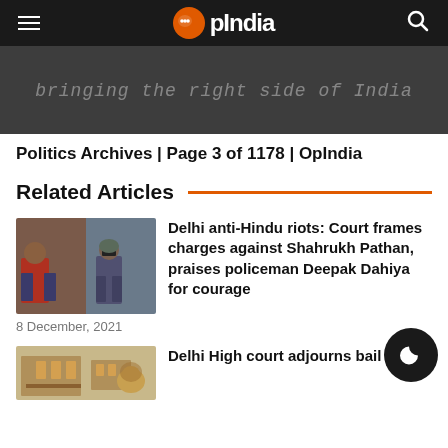OpIndia
[Figure (screenshot): Dark grey hero image with italic text 'bringing the right side of India']
Politics Archives | Page 3 of 1178 | OpIndia
Related Articles
[Figure (photo): Photo showing two scenes: a man in red shirt and another person with a camera/phone, related to Delhi riots]
Delhi anti-Hindu riots: Court frames charges against Shahrukh Pathan, praises policeman Deepak Dahiya for courage
8 December, 2021
[Figure (photo): Partial photo of Delhi High Court building]
Delhi High court adjourns bail